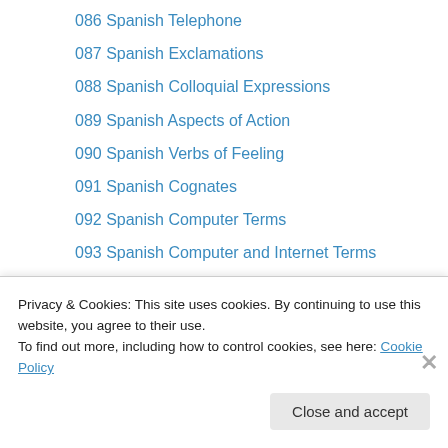086 Spanish Telephone
087 Spanish Exclamations
088 Spanish Colloquial Expressions
089 Spanish Aspects of Action
090 Spanish Verbs of Feeling
091 Spanish Cognates
092 Spanish Computer Terms
093 Spanish Computer and Internet Terms
094 Spanish Road Signs
095 Spanish Basketball
096 American Football
097 Spanish Stores
098 Spanish Astronomy
Privacy & Cookies: This site uses cookies. By continuing to use this website, you agree to their use. To find out more, including how to control cookies, see here: Cookie Policy